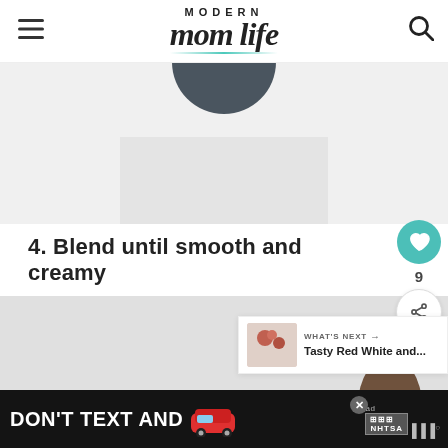MODERN mom life
[Figure (photo): Partial view of a dark blender lid/top on a light gray background]
4. Blend until smooth and creamy
[Figure (photo): Gray/light background with a partial dark hand holding blending bowl visible at bottom right]
[Figure (other): What's Next widget showing Tasty Red White and... article thumbnail with berries]
[Figure (other): Advertisement banner: DON'T TEXT AND (car emoji) with ad and NHTSA logos]